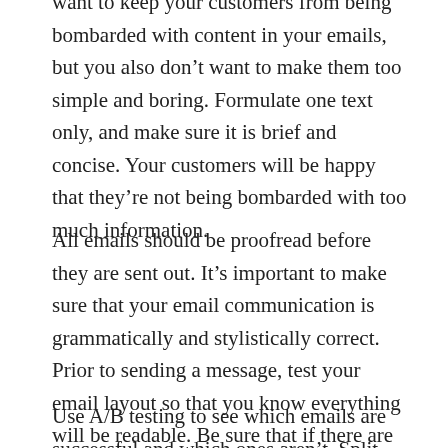want to keep your customers from being bombarded with content in your emails, but you also don't want to make them too simple and boring. Formulate one text only, and make sure it is brief and concise. Your customers will be happy that they're not being bombarded with too much information.
All emails should be proofread before they are sent out. It's important to make sure that your email communication is grammatically and stylistically correct. Prior to sending a message, test your email layout so that you know everything will be readable. Be sure that if there are links in the email you test them first.
Use A/B testing to see which emails are successful and which ones aren't. Split your email list in half and send